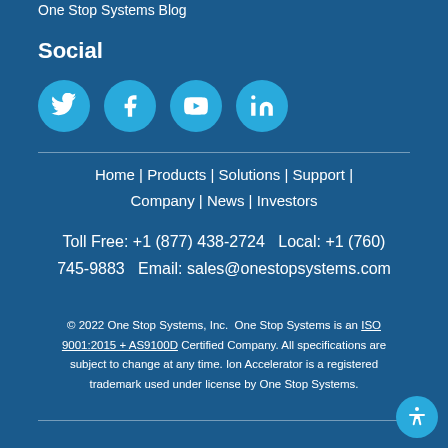One Stop Systems Blog
Social
[Figure (other): Social media icons: Twitter, Facebook, YouTube, LinkedIn]
Home | Products | Solutions | Support | Company | News | Investors
Toll Free: +1 (877) 438-2724   Local: +1 (760) 745-9883    Email: sales@onestopsystems.com
© 2022 One Stop Systems, Inc.   One Stop Systems is an ISO 9001:2015 + AS9100D Certified Company. All specifications are subject to change at any time. Ion Accelerator is a registered trademark used under license by One Stop Systems.